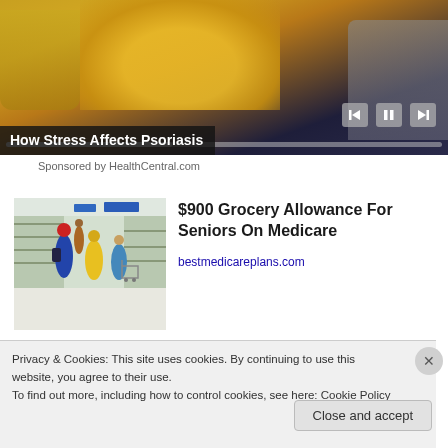[Figure (screenshot): Video thumbnail showing a person in a yellow sweater on a couch with media player controls (previous, pause, next buttons) and a progress bar overlay]
How Stress Affects Psoriasis
Sponsored by HealthCentral.com
[Figure (photo): Photo of a grocery store with shoppers pushing carts in the aisles]
$900 Grocery Allowance For Seniors On Medicare
bestmedicareplans.com
Privacy & Cookies: This site uses cookies. By continuing to use this website, you agree to their use.
To find out more, including how to control cookies, see here: Cookie Policy
Close and accept